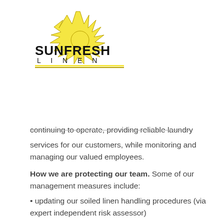[Figure (logo): Sunfresh Linen logo with yellow sun graphic above bold text 'SUNFRESH' and spaced letters 'L I N E N' with yellow underline bars]
continuing to operate, providing reliable laundry services for our customers, while monitoring and managing our valued employees.
How we are protecting our team. Some of our management measures include:
updating our soiled linen handling procedures (via expert independent risk assessor)
adjustment to rostering to separate teams to reduce human-to-human contact